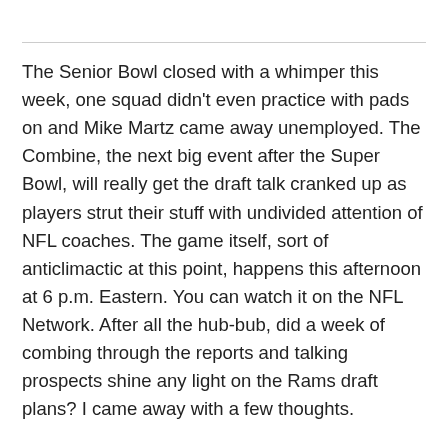The Senior Bowl closed with a whimper this week, one squad didn't even practice with pads on and Mike Martz came away unemployed. The Combine, the next big event after the Super Bowl, will really get the draft talk cranked up as players strut their stuff with undivided attention of NFL coaches. The game itself, sort of anticlimactic at this point, happens this afternoon at 6 p.m. Eastern. You can watch it on the NFL Network. After all the hub-bub, did a week of combing through the reports and talking prospects shine any light on the Rams draft plans? I came away with a few thoughts.